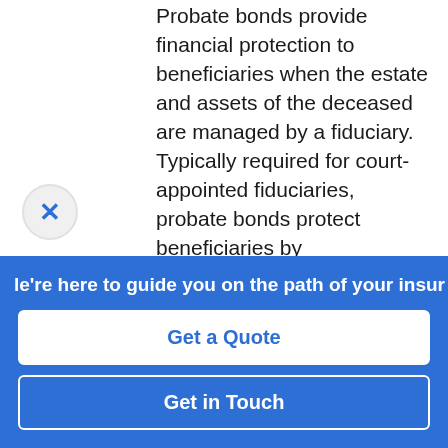Probate bonds provide financial protection to beneficiaries when the estate and assets of the deceased are managed by a fiduciary. Typically required for court-appointed fiduciaries, probate bonds protect beneficiaries by guaranteeing that the fiduciary follows through with their professional responsibilities.
We're here to guide you on the path of your insur
Get a Quote
Get in Touch